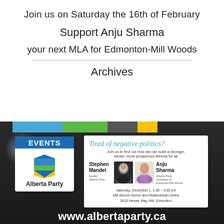Join us on Saturday the 16th of February
Support Anju Sharma
your next MLA for Edmonton-Mill Woods
Archives
[Figure (photo): Alberta Party political event flyer featuring Stephen Mandel and Anju Sharma, with 'Tired of negative politics?' heading and event details for Saturday, December 1, 1:30-3:30 pm at Mill Woods Senior and Multicultural Centre, 2610 Hewes Way NW, Edmonton. Shows Alberta Party logo and Events badge.]
www.albertaparty.ca